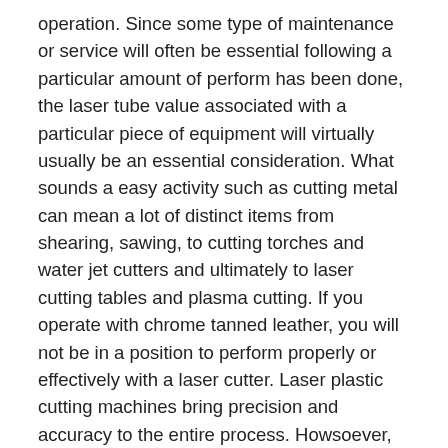operation. Since some type of maintenance or service will often be essential following a particular amount of perform has been done, the laser tube value associated with a particular piece of equipment will virtually usually be an essential consideration. What sounds a easy activity such as cutting metal can mean a lot of distinct items from shearing, sawing, to cutting torches and water jet cutters and ultimately to laser cutting tables and plasma cutting. If you operate with chrome tanned leather, you will not be in a position to perform properly or effectively with a laser cutter. Laser plastic cutting machines bring precision and accuracy to the entire process. Howsoever, only the kinds of laser tube cutting machine matching your gear parameters like its version, and dimensions set well with your machine. The workers set up the sizes for the materials and determine the area that requires cutting. By replacing the physical cutting tool with a laser cutter, the non-contact approach is much more precise, cleaner and can be quicker also. Materials such as steel want far more than two kW. In